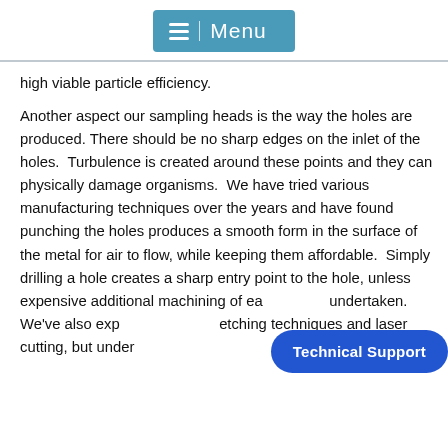Menu
high viable particle efficiency.
Another aspect our sampling heads is the way the holes are produced. There should be no sharp edges on the inlet of the holes. Turbulence is created around these points and they can physically damage organisms. We have tried various manufacturing techniques over the years and have found punching the holes produces a smooth form in the surface of the metal for air to flow, while keeping them affordable. Simply drilling a hole creates a sharp entry point to the hole, unless expensive additional machining of each hole is undertaken. We've also explored chemical etching techniques and laser cutting, but under